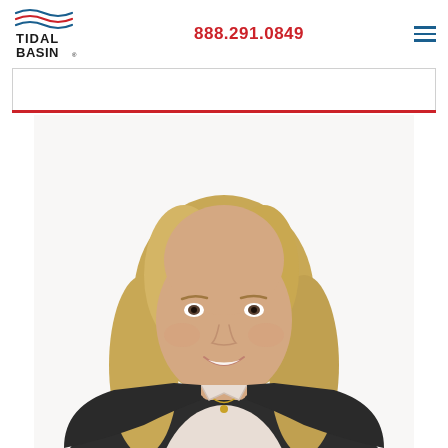Tidal Basin | 888.291.0849
[Figure (logo): Tidal Basin logo with stylized American flag wave lines above the text TIDAL BASIN]
[Figure (photo): Professional headshot of a smiling woman with blonde shoulder-length hair, wearing a dark blazer over a light blouse, with a gold necklace, on a white background]